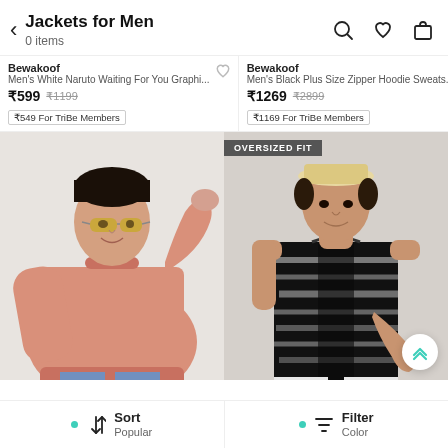Jackets for Men — 0 items
Bewakoof
Men's White Naruto Waiting For You Graphi...
₹599  ₹1199
₹549 For TriBe Members
Bewakoof
Men's Black Plus Size Zipper Hoodie Sweats...
₹1269  ₹2899
₹1169 For TriBe Members
[Figure (photo): Man wearing a pink round-neck sweatshirt with yellow tinted sunglasses, posing against a light grey background]
[Figure (photo): Man wearing a black and white patterned sleeveless hoodie with a cream bucket hat, posing against a light background. Badge: OVERSIZED FIT]
Sort  Popular    Filter  Color